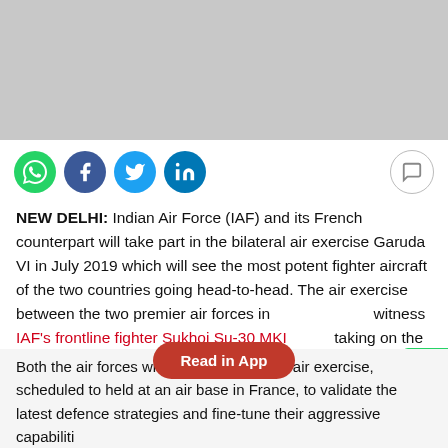[Figure (screenshot): Grey banner area at top of page representing an advertisement or image placeholder]
[Figure (infographic): Social media sharing icons: WhatsApp (green), Facebook (blue), Twitter (light blue), LinkedIn (dark blue) and a comment icon on the right]
NEW DELHI: Indian Air Force (IAF) and its French counterpart will take part in the bilateral air exercise Garuda VI in July 2019 which will see the most potent fighter aircraft of the two countries going head-to-head. The air exercise between the two premier air forces in will witness IAF's frontline fighter Sukhoi Su-30 MKI taking on the Rafale multirole jets of the Armée de l'Air (French Air Force).
Both the air forces will use the Garuda VI air exercise, scheduled to held at an air base in France, to validate the latest defence strategies and fine-tune their aggressive capabilities